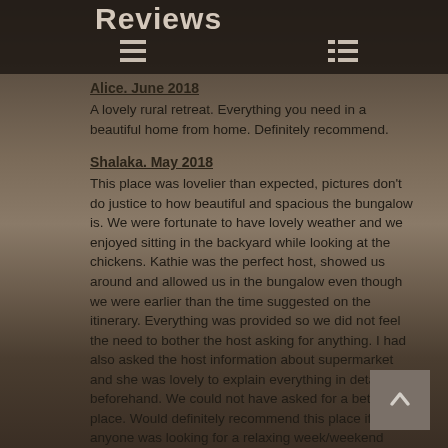Reviews
Alice. June 2018
A lovely rural retreat. Everything you need in a beautiful home from home. Definitely recommend.
Shalaka. May 2018
This place was lovelier than expected, pictures don't do justice to how beautiful and spacious the bungalow is. We were fortunate to have lovely weather and we enjoyed sitting in the backyard while looking at the chickens. Kathie was the perfect host, showed us around and allowed us in the bungalow even though we were earlier than the time suggested on the itinerary. Everything was provided so we did not feel the need to bother the host asking for anything. I had also asked the host information about supermarket and she was lovely to explain everything in detail beforehand. We could not have asked for a better place. Would definitely recommend this place if anyone was looking for a relaxing week/weekend away.
Pete. February 2018